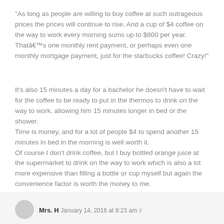“As long as people are willing to buy coffee at such outrageous prices the prices will continue to rise. And a cup of $4 coffee on the way to work every morning sums up to $800 per year. Thatâ€™s one monthly rent payment, or perhaps even one monthly mortgage payment, just for the starbucks coffee! Crazy!”
It's also 15 minutes a day for a bachelor he doesn't have to wait for the coffee to be ready to put in the thermos to drink on the way to work, allowing him 15 minutes longer in bed or the shower.
Time is money, and for a lot of people $4 to spend another 15 minutes in bed in the morning is well worth it.
Of course I don't drink coffee, but I buy bottled orange juice at the supermarket to drink on the way to work which is also a lot more expensive than filling a bottle or cup myself but again the convenience factor is worth the money to me.
Mrs. H January 14, 2016 at 8:23 am #